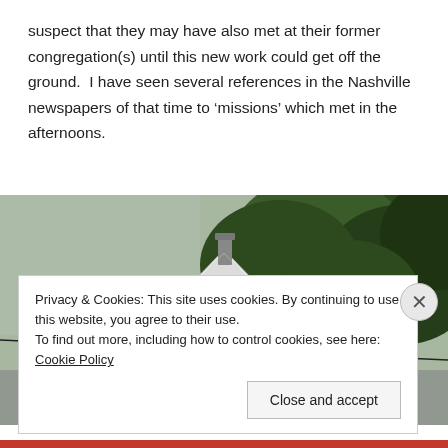suspect that they may have also met at their former congregation(s) until this new work could get off the ground.  I have seen several references in the Nashville newspapers of that time to 'missions' which met in the afternoons.
[Figure (photo): Photograph of the rooftop of a white clapboard house with a triangular gable, a chimney visible at the peak, and dense green trees behind it. The image is cropped to show only the upper portion of the structure against the tree canopy.]
Privacy & Cookies: This site uses cookies. By continuing to use this website, you agree to their use.
To find out more, including how to control cookies, see here: Cookie Policy
Close and accept